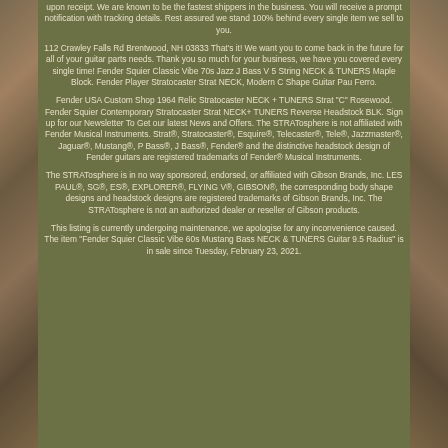upon receipt. We are known to be the fastest shippers in the business. You will receive a prompt notification with tracking details. Rest assured we stand 100% behind every single item we sell to you.
112 Crawley Falls Rd Brentwood, NH 03833 That's it! We want you to come back in the future for all of your guitar parts needs. Thank you so much for your business, we have you covered every single time! Fender Squier Classic Vibe 70s Jazz J Bass V 5 String NECK & TUNERS Maple Block. Fender Player Stratocaster Strat NECK, Modern C Shape Guitar Pau Ferro.
Fender USA Custom Shop 1964 Relic Stratocaster NECK + TUNERS Strat "C" Rosewood. Fender Squier Contemporary Stratocaster Strat NECK+ TUNERS Reverse Headstock BLK. Sign up for our Newsletter To Get our latest News and Offers. The STRATosphere is not affiliated with Fender Musical Instruments. Strat®, Stratocaster®, Esquire®, Telecaster®, Tele®, Jazzmaster®, Jaguar®, Mustang®, P Bass®, J Bass®, Fender® and the distinctive headstock design of Fender guitars are registered trademarks of Fender® Musical Instruments.
The STRATosphere is in no way sponsored, endorsed, or affiliated with Gibson Brands, Inc. LES PAUL®, SG®, ES®, EXPLORER®, FLYING V®, GIBSON®, the corresponding body shape designs and headstock designs are registered trademarks of Gibson Brands, Inc. The STRATosphere is not an authorized dealer or reseller of Gibson products.
This listing is currently undergoing maintenance, we apologise for any inconvenience caused. The item "Fender Squier Classic Vibe 60s Mustang Bass NECK & TUNERS Guitar 9.5 Radius" is in sale since Tuesday, February 23, 2021.